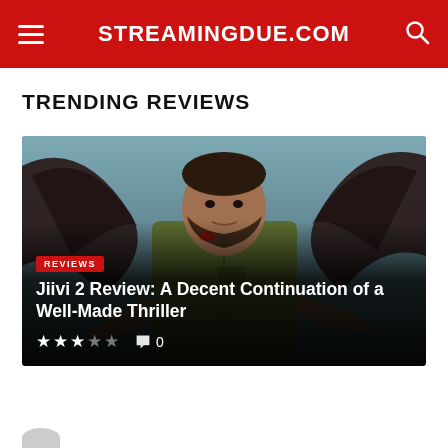STREAMINGDUE.COM
TRENDING REVIEWS
[Figure (photo): Movie poster / promotional image for Jiivi 2 showing a bearded man in a green shirt with dark wings spread behind him, dramatic blue-grey background. Overlay text includes REVIEWS badge, title, star rating and comment count.]
Jiivi 2 Review: A Decent Continuation of a Well-Made Thriller